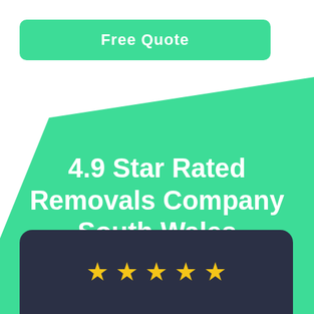[Figure (infographic): Green diagonal background shape covering right and bottom portion of page]
Free Quote
4.9 Star Rated Removals Company South Wales
[Figure (infographic): Dark navy rounded card at the bottom showing 5 yellow star icons representing a 4.9 star rating]